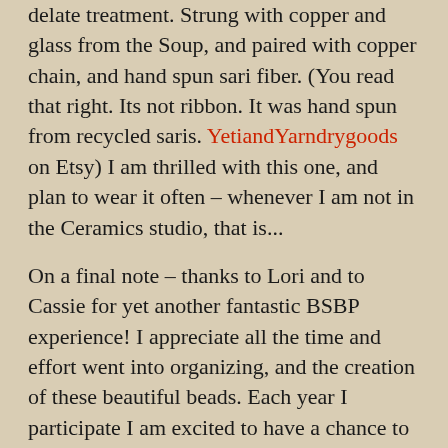delate treatment. Strung with copper and glass from the Soup, and paired with copper chain, and hand spun sari fiber. (You read that right. Its not ribbon. It was hand spun from recycled saris. YetiandYarndrygoods on Etsy) I am thrilled with this one, and plan to wear it often – whenever I am not in the Ceramics studio, that is...
On a final note – thanks to Lori and to Cassie for yet another fantastic BSBP experience! I appreciate all the time and effort went into organizing, and the creation of these beautiful beads. Each year I participate I am excited to have a chance to PLAY, to do something new and unusual, to be inspired, abe to experiment a bit. But enough of ME – you, my dear blog reader, have other treasure to view, creations to see!
Here is the link to the complete list of participants in the hop and Bead Soup Blog Participants Reveal...